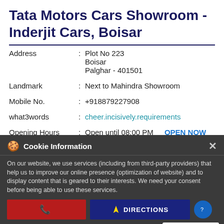Tata Motors Cars Showroom - Inderjit Cars, Boisar
| Address | : | Plot No 223
Boisar
Palghar - 401501 |
| Landmark | : | Next to Mahindra Showroom |
| Mobile No. | : | +918879227908 |
| what3words | : | cheer.incisively.requirements |
| Opening Hours | : | Open until 08:00 PM   OPEN NOW |
| Payment Method | : | Cash ,  Cheque ,  Online Payment |
| Parking Options | : | Free parking on site |
✓ Showroom
Cookie Information
On our website, we use services (including from third-party providers) that help us to improve our online presence (optimization of website) and to display content that is geared to their interests. We need your consent before being able to use these services.
DIRECTIONS
I ACCEPT
Review Us